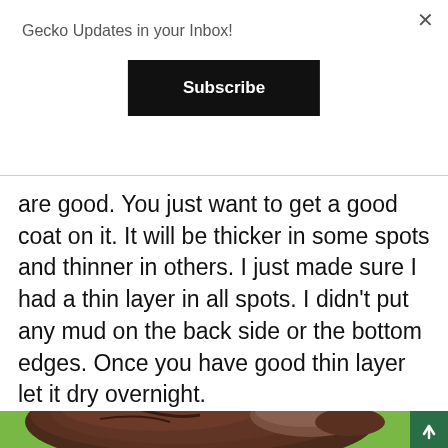Gecko Updates in your Inbox!
Subscribe
are good. You just want to get a good coat on it. It will be thicker in some spots and thinner in others. I just made sure I had a thin layer in all spots. I didn't put any mud on the back side or the bottom edges. Once you have good thin layer let it dry overnight.
[Figure (photo): Outdoor photo showing a dark brown mud-coated rock or sculpted piece lying on green grass, with a barn building with red trim visible in the background and a small tree.]